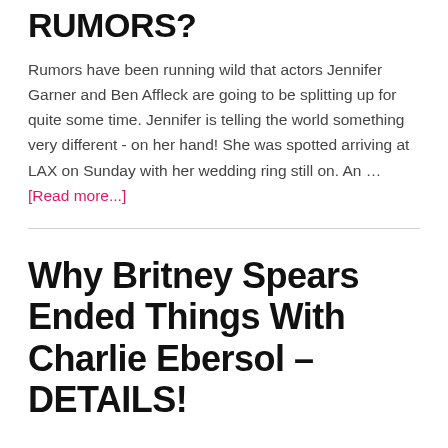RUMORS?
Rumors have been running wild that actors Jennifer Garner and Ben Affleck are going to be splitting up for quite some time. Jennifer is telling the world something very different - on her hand! She was spotted arriving at LAX on Sunday with her wedding ring still on. An … [Read more...]
Why Britney Spears Ended Things With Charlie Ebersol – DETAILS!